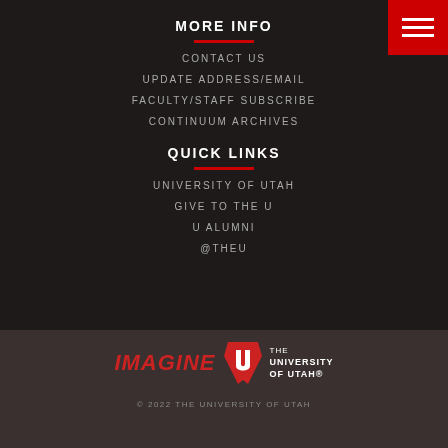MORE INFO
CONTACT US
UPDATE ADDRESS/EMAIL
FACULTY/STAFF SUBSCRIBE
CONTINUUM ARCHIVES
QUICK LINKS
UNIVERSITY OF UTAH
GIVE TO THE U
U ALUMNI
@THEU
[Figure (logo): IMAGINE University of Utah logo with red U shield and white text]
© 2022 THE UNIVERSITY OF UTAH